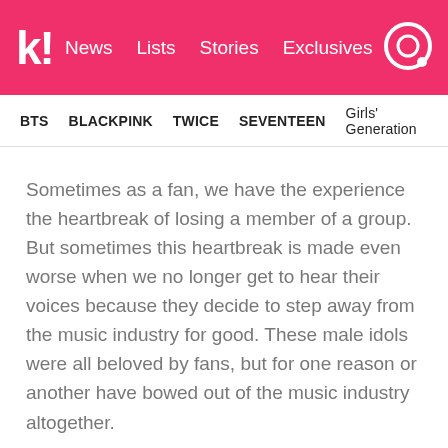k! News Lists Stories Exclusives
BTS   BLACKPINK   TWICE   SEVENTEEN   Girls' Generation
Sometimes as a fan, we have the experience the heartbreak of losing a member of a group. But sometimes this heartbreak is made even worse when we no longer get to hear their voices because they decide to step away from the music industry for good. These male idols were all beloved by fans, but for one reason or another have bowed out of the music industry altogether.
1. Dongho (former U-KISS member)